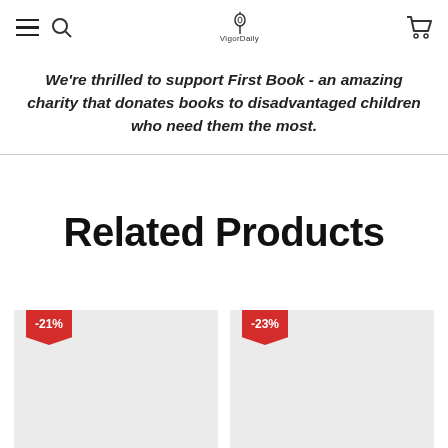VigorDaily navigation header with hamburger menu, search icon, logo, and cart icon
We're thrilled to support First Book - an amazing charity that donates books to disadvantaged children who need them the most.
Related Products
[Figure (other): Product card with red -21% discount badge on light gray background]
[Figure (other): Product card with red -23% discount badge on light gray background]